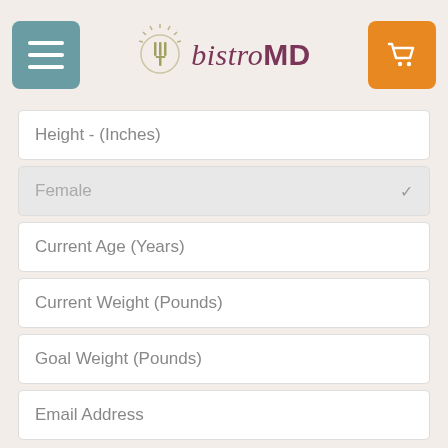[Figure (logo): bistroMD logo with fork icon, hamburger menu button (teal), and shopping cart button (orange)]
Height - (Inches)
Female
Current Age (Years)
Current Weight (Pounds)
Goal Weight (Pounds)
Email Address
GET MY RESULTS ▶
Yes, send me special offers and the Weekly Dish on